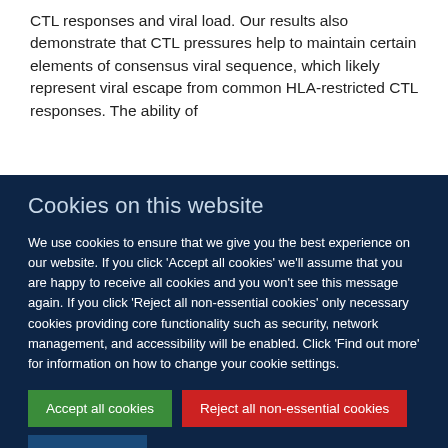CTL responses and viral load. Our results also demonstrate that CTL pressures help to maintain certain elements of consensus viral sequence, which likely represent viral escape from common HLA-restricted CTL responses. The ability of
Cookies on this website
We use cookies to ensure that we give you the best experience on our website. If you click 'Accept all cookies' we'll assume that you are happy to receive all cookies and you won't see this message again. If you click 'Reject all non-essential cookies' only necessary cookies providing core functionality such as security, network management, and accessibility will be enabled. Click 'Find out more' for information on how to change your cookie settings.